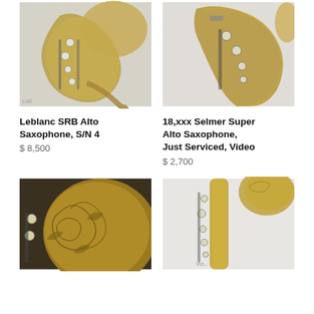[Figure (photo): Close-up photo of a Leblanc SRB Alto Saxophone with gold lacquer finish, showing keys and bell, on light gray background]
[Figure (photo): Close-up photo of an 18,xxx Selmer Super Alto Saxophone with aged brass finish, showing keys and upper body, on white background]
Leblanc SRB Alto Saxophone, S/N 4
$ 8,500
18,xxx Selmer Super Alto Saxophone, Just Serviced, Video
$ 2,700
[Figure (photo): Close-up photo of a saxophone bell with ornate floral engraving, gold/brass finish]
[Figure (photo): Full saxophone on white background showing body and keys, aged brass finish, with partial handwritten text visible]